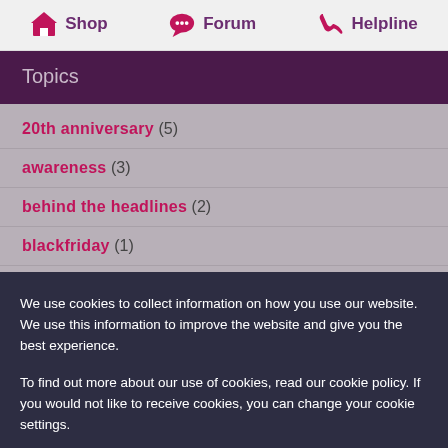Shop | Forum | Helpline
Topics
20th anniversary (5)
awareness (3)
behind the headlines (2)
blackfriday (1)
We use cookies to collect information on how you use our website. We use this information to improve the website and give you the best experience.
To find out more about our use of cookies, read our cookie policy. If you would not like to receive cookies, you can change your cookie settings.
Accept cookies | Cookie settings | ×